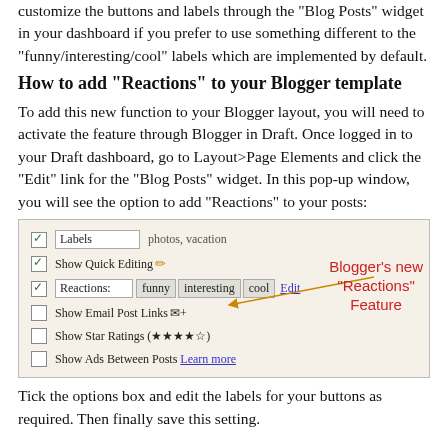customize the buttons and labels through the "Blog Posts" widget in your dashboard if you prefer to use something different to the "funny/interesting/cool" labels which are implemented by default.
How to add "Reactions" to your Blogger template
To add this new function to your Blogger layout, you will need to activate the feature through Blogger in Draft. Once logged in to your Draft dashboard, go to Layout>Page Elements and click the "Edit" link for the "Blog Posts" widget. In this pop-up window, you will see the option to add "Reactions" to your posts:
[Figure (screenshot): Screenshot of Blogger Blog Posts widget settings showing checkboxes for Labels, Show Quick Editing, Reactions (funny/interesting/cool), Show Email Post Links, Show Star Ratings, and Show Ads Between Posts, with an annotation pointing to Reactions saying "Blogger's new 'Reactions' Feature"]
Tick the options box and edit the labels for your buttons as required. Then finally save this setting.